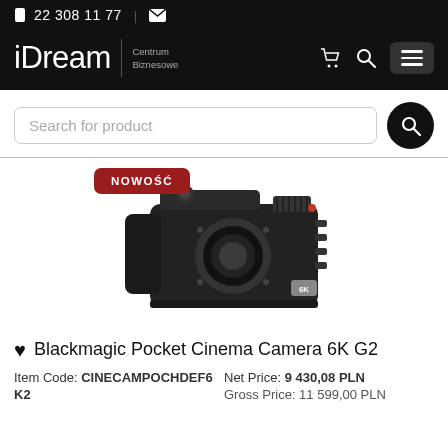22 308 11 77 | [email icon]
[Figure (logo): iDream Centrum Biznesowe logo with shopping cart, search, and menu icons on black background]
Search for product
[Figure (photo): Blackmagic Pocket Cinema Camera 6K G2 product photo with NOWOŚĆ (new) badge]
♥ Blackmagic Pocket Cinema Camera 6K G2
Item Code: CINECAMPOCHDEF6K2
Net Price: 9 430,08 PLN
Gross Price: 11 599,00 PLN